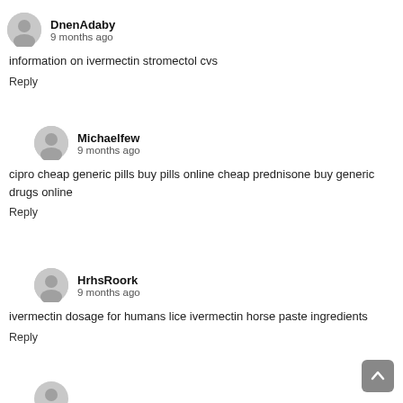DnenAdaby
9 months ago
information on ivermectin stromectol cvs
Reply
Michaelfew
9 months ago
cipro cheap generic pills buy pills online cheap prednisone buy generic drugs online
Reply
HrhsRoork
9 months ago
ivermectin dosage for humans lice ivermectin horse paste ingredients
Reply